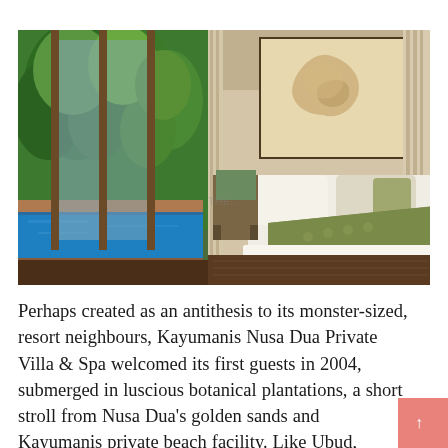[Figure (photo): Hotel villa bedroom with large white bed with green runner, sliding glass doors opening to a private pool and lush tropical garden with trees, warm neutral walls with abstract artwork above the bed, wooden floors, chairs and furniture visible]
Perhaps created as an antithesis to its monster-sized, resort neighbours, Kayumanis Nusa Dua Private Villa & Spa welcomed its first guests in 2004, submerged in luscious botanical plantations, a short stroll from Nusa Dua's golden sands and Kayumanis private beach facility. Like Ubud, there's a distinct